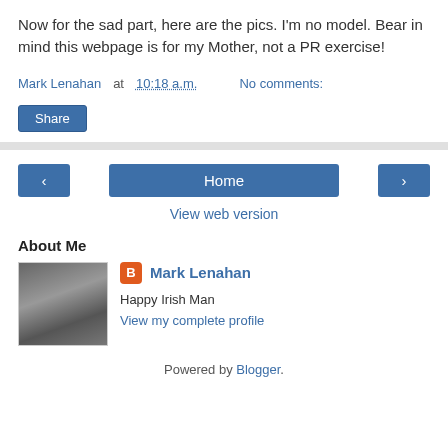Now for the sad part, here are the pics. I'm no model. Bear in mind this webpage is for my Mother, not a PR exercise!
Mark Lenahan at 10:18 a.m.   No comments:
Share
Home
View web version
About Me
Mark Lenahan
Happy Irish Man
View my complete profile
Powered by Blogger.